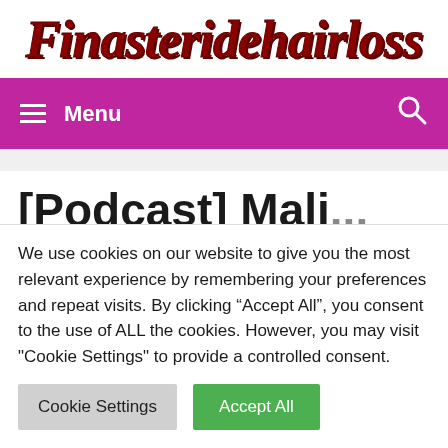Finasteridehairloss
Menu
[Podcast] Mali...
We use cookies on our website to give you the most relevant experience by remembering your preferences and repeat visits. By clicking “Accept All”, you consent to the use of ALL the cookies. However, you may visit "Cookie Settings" to provide a controlled consent.